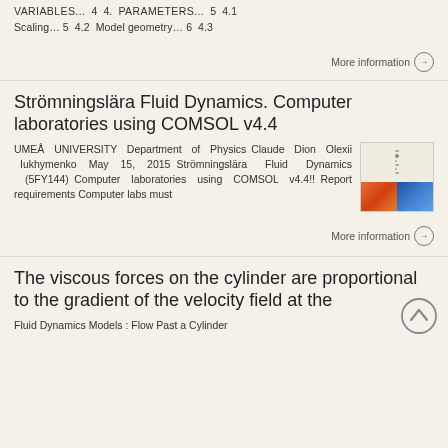VARIABLES... 4 4. PARAMETERS... 5 4.1 Scaling... 5 4.2 Model geometry... 6 4.3
More information →
Strömningslära Fluid Dynamics. Computer laboratories using COMSOL v4.4
UMEÅ UNIVERSITY Department of Physics Claude Dion Olexii Iukhymenko May 15, 2015 Strömningslära Fluid Dynamics (5FY144) Computer laboratories using COMSOL v4.4!! Report requirements Computer labs must
More information →
The viscous forces on the cylinder are proportional to the gradient of the velocity field at the
Fluid Dynamics Models : Flow Past a Cylinder